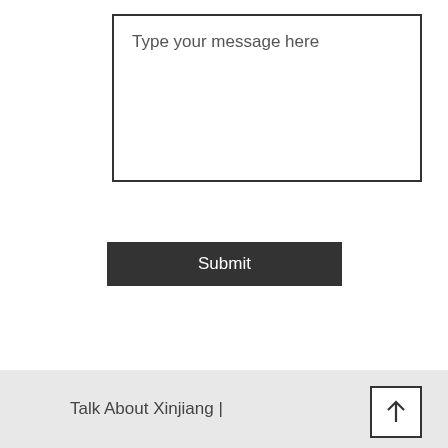[Figure (screenshot): A text area input box with placeholder text 'Type your message here' and a dark Submit button below it, followed by a light gray page footer with 'Talk About Xinjiang |' text and a scroll-to-top button with an upward arrow icon.]
Talk About Xinjiang |